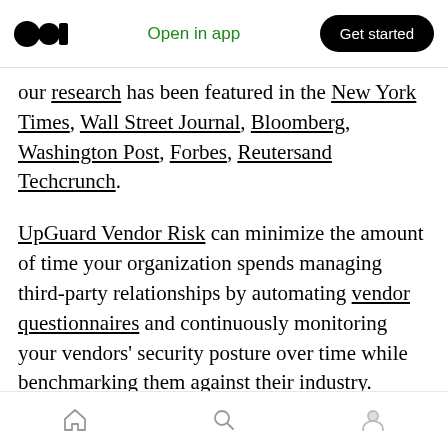Medium logo | Open in app | Get started
our research has been featured in the New York Times, Wall Street Journal, Bloomberg, Washington Post, Forbes, Reutersand Techcrunch.
UpGuard Vendor Risk can minimize the amount of time your organization spends managing third-party relationships by automating vendor questionnaires and continuously monitoring your vendors' security posture over time while benchmarking them against their industry.
Each vendor is rated against 50+ criteria such as
Home | Search | Profile